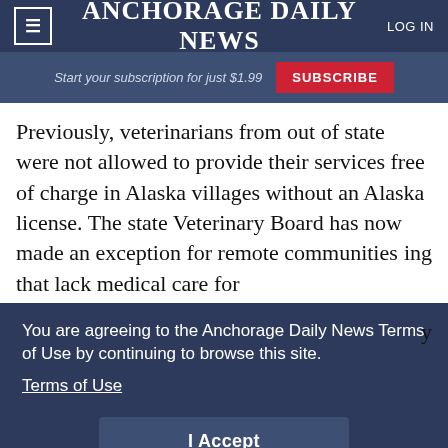≡  ANCHORAGE DAILY NEWS  LOG IN
Start your subscription for just $1.99  SUBSCRIBE
Previously, veterinarians from out of state were not allowed to provide their services free of charge in Alaska villages without an Alaska license. The state Veterinary Board has now made an exception for remote communities that lack medical care for
You are agreeing to the Anchorage Daily News Terms of Use by continuing to browse this site.
Terms of Use
I Accept